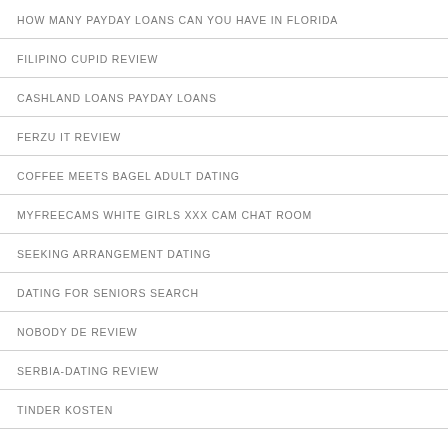HOW MANY PAYDAY LOANS CAN YOU HAVE IN FLORIDA
FILIPINO CUPID REVIEW
CASHLAND LOANS PAYDAY LOANS
FERZU IT REVIEW
COFFEE MEETS BAGEL ADULT DATING
MYFREECAMS WHITE GIRLS XXX CAM CHAT ROOM
SEEKING ARRANGEMENT DATING
DATING FOR SENIORS SEARCH
NOBODY DE REVIEW
SERBIA-DATING REVIEW
TINDER KOSTEN